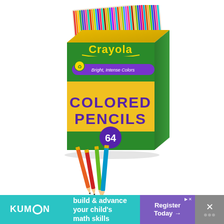[Figure (photo): Product photo of Crayola Colored Pencils 64-count box with yellow and green packaging, showing the box open with pencils fanned out at top, and 4 individual colored pencils (orange, red, green, teal) displayed in front of the box on a white background.]
[Figure (infographic): Advertisement banner at bottom of page. Left section: teal background with KUMON logo text. Middle section: teal background with text 'build & advance your child's math skills'. Right section: purple background with 'Register Today ->' button. Far right: dark close button with X icon and dots.]